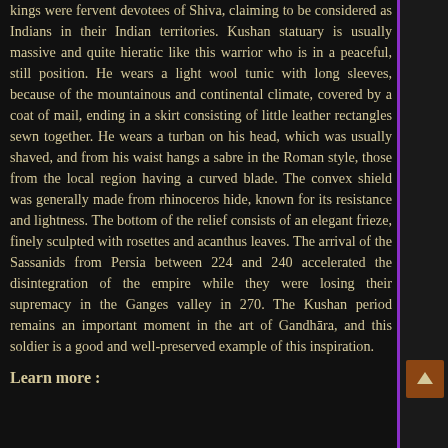kings were fervent devotees of Shiva, claiming to be considered as Indians in their Indian territories. Kushan statuary is usually massive and quite hieratic like this warrior who is in a peaceful, still position. He wears a light wool tunic with long sleeves, because of the mountainous and continental climate, covered by a coat of mail, ending in a skirt consisting of little leather rectangles sewn together. He wears a turban on his head, which was usually shaved, and from his waist hangs a sabre in the Roman style, those from the local region having a curved blade. The convex shield was generally made from rhinoceros hide, known for its resistance and lightness. The bottom of the relief consists of an elegant frieze, finely sculpted with rosettes and acanthus leaves. The arrival of the Sassanids from Persia between 224 and 240 accelerated the disintegration of the empire while they were losing their supremacy in the Ganges valley in 270. The Kushan period remains an important moment in the art of Gandhāra, and this soldier is a good and well-preserved example of this inspiration.
Learn more :